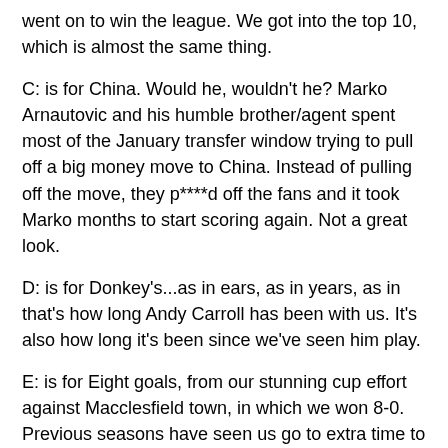went on to win the league. We got into the top 10, which is almost the same thing.
C: is for China. Would he, wouldn't he? Marko Arnautovic and his humble brother/agent spent most of the January transfer window trying to pull off a big money move to China. Instead of pulling off the move, they p****d off the fans and it took Marko months to start scoring again. Not a great look.
D: is for Donkey's...as in ears, as in years, as in that's how long Andy Carroll has been with us. It's also how long it's been since we've seen him play.
E: is for Eight goals, from our stunning cup effort against Macclesfield town, in which we won 8-0. Previous seasons have seen us go to extra time to overturn the likes of Shrewsbury, so this win showed promise that was made all the more sweet by the amount of youngsters (including Grady Diangana) who made this result possible.
...